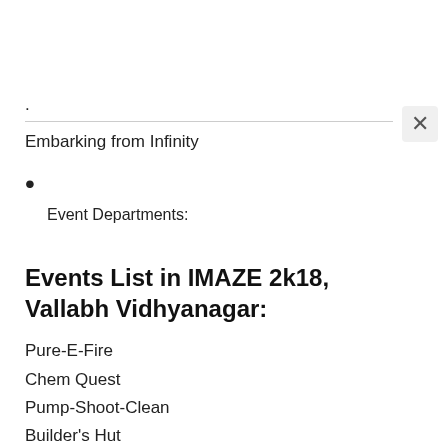Embarking from Infinity
Event Departments:
Events List in IMAZE 2k18, Vallabh Vidhyanagar:
Pure-E-Fire
Chem Quest
Pump-Shoot-Clean
Builder's Hut